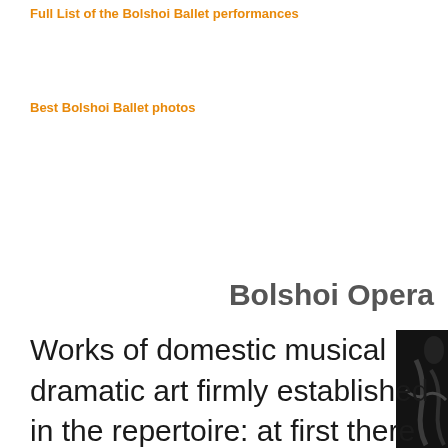Full List of the Bolshoi Ballet performances
Best Bolshoi Ballet photos
Bolshoi Opera
[Figure (photo): Partial view of a ballet or opera performer, dark background, showing arm/leg detail]
Works of domestic musical dramatic art firmly established in the repertoire: at first there